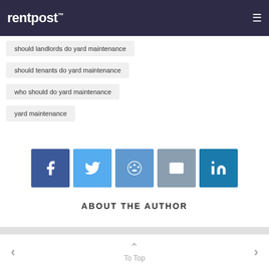rentpost™
should landlords do yard maintenance
should tenants do yard maintenance
who should do yard maintenance
yard maintenance
[Figure (infographic): Social share buttons: Facebook, Twitter, Reddit, Email, LinkedIn]
ABOUT THE AUTHOR
< To Top >